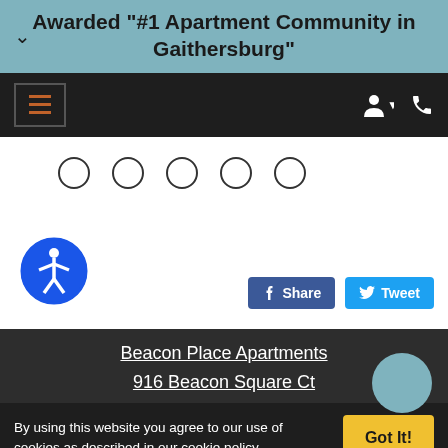Awarded "#1 Apartment Community in Gaithersburg"
[Figure (screenshot): Dark navigation bar with hamburger menu button (orange lines) on left and user/phone icons on right]
[Figure (screenshot): Carousel navigation with 5 empty circles (dots) on white background]
[Figure (logo): Accessibility icon - blue circle with white person figure]
[Figure (screenshot): Facebook Share button and Twitter Tweet button]
Beacon Place Apartments
916 Beacon Square Ct
By using this website you agree to our use of cookies as described in our cookie policy.